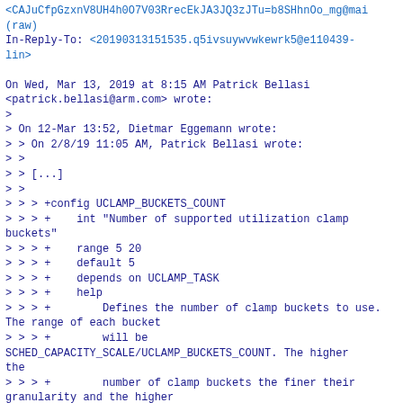<CAJuCfpGzxnV8UH4h0O7V03RrecEkJA3JQ3zJTu=b8SHhnOo_mg@mail (raw)
In-Reply-To: <20190313151535.q5ivsuywvwkewrk5@e110439-lin>

On Wed, Mar 13, 2019 at 8:15 AM Patrick Bellasi <patrick.bellasi@arm.com> wrote:
>
> On 12-Mar 13:52, Dietmar Eggemann wrote:
> > On 2/8/19 11:05 AM, Patrick Bellasi wrote:
> >
> > [...]
> >
> > > +config UCLAMP_BUCKETS_COUNT
> > > +	int "Number of supported utilization clamp buckets"
> > > +	range 5 20
> > > +	default 5
> > > +	depends on UCLAMP_TASK
> > > +	help
> > > +		Defines the number of clamp buckets to use. The range of each bucket
> > > +		will be SCHED_CAPACITY_SCALE/UCLAMP_BUCKETS_COUNT. The higher the
> > > +		number of clamp buckets the finer their granularity and the higher
> > > +		the precision of clamping aggregation and tracking at run-time.
> > > +